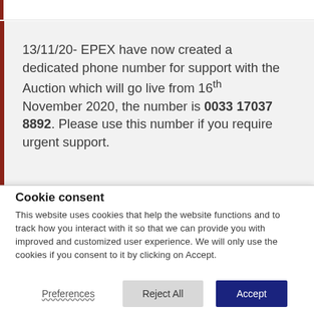13/11/20- EPEX have now created a dedicated phone number for support with the Auction which will go live from 16th November 2020, the number is 0033 17037 8892. Please use this number if you require urgent support.
Cookie consent
This website uses cookies that help the website functions and to track how you interact with it so that we can provide you with improved and customized user experience. We will only use the cookies if you consent to it by clicking on Accept.